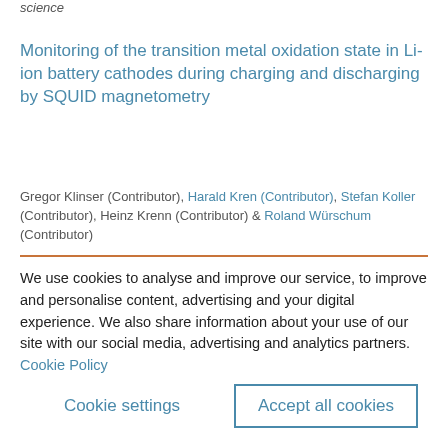science
Monitoring of the transition metal oxidation state in Li-ion battery cathodes during charging and discharging by SQUID magnetometry
Gregor Klinser (Contributor), Harald Kren (Contributor), Stefan Koller (Contributor), Heinz Krenn (Contributor) & Roland Würschum (Contributor)
We use cookies to analyse and improve our service, to improve and personalise content, advertising and your digital experience. We also share information about your use of our site with our social media, advertising and analytics partners.  Cookie Policy
Cookie settings
Accept all cookies